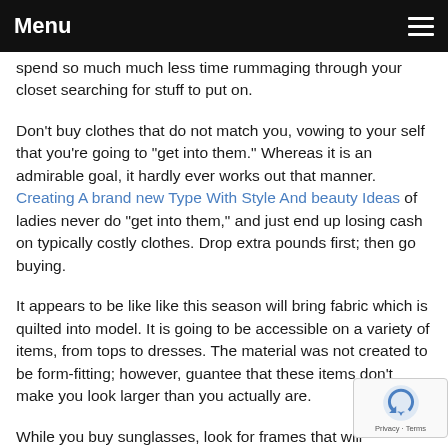Menu
spend so much much less time rummaging through your closet searching for stuff to put on.
Don't buy clothes that do not match you, vowing to your self that you're going to "get into them." Whereas it is an admirable goal, it hardly ever works out that manner. Creating A brand new Type With Style And beauty Ideas of ladies never do "get into them," and just end up losing cash on typically costly clothes. Drop extra pounds first; then go buying.
It appears to be like like this season will bring fabric which is quilted into model. It is going to be accessible on a variety of items, from tops to dresses. The material was not created to be form-fitting; however, guantee that these items don't make you look larger than you actually are.
While you buy sunglasses, look for frames that will coordinate